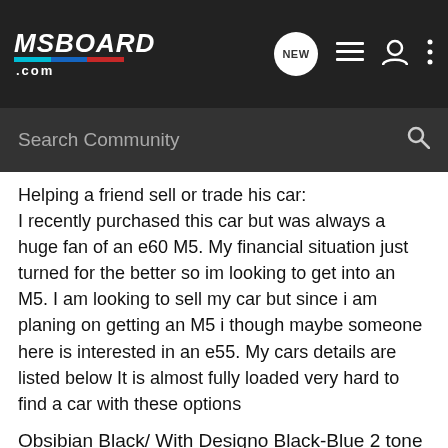MSBOARD.com
Search Community
Helping a friend sell or trade his car:
I recently purchased this car but was always a huge fan of an e60 M5. My financial situation just turned for the better so im looking to get into an M5. I am looking to sell my car but since i am planing on getting an M5 i though maybe someone here is interested in an e55. My cars details are listed below It is almost fully loaded very hard to find a car with these options
Obsibian Black/ With Designo Black-Blue 2 tone interior
Xenon
Panoramic Roof\Solar Panel
Dynamic Seats
Keyless Go
2 Tone interior (Original Designo)
Premium Woodgrain